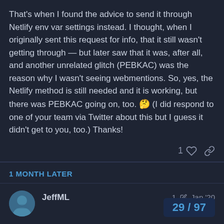That's when I found the advice to send it through Netlify env var settings instead. I thought, when I originally sent this request for info, that it still wasn't getting through — but later saw that it was, after all, and another unrelated glitch (PEBKAC) was the reason why I wasn't seeing webmentions. So, yes, the Netlify method is still needed and it is working, but there was PEBKAC going on, too. 🤔 (I did respond to one of your team via Twitter about this but I guess it didn't get to you, too.) Thanks!
1 ♡ 🔗
1 MONTH LATER
JeffML  1 ✏  Jan '20
I'm not sure if it is addressed in this topic discussion, but I had an issue in that the creds I needed where in JSON format, and that they are typically read from a file. Since I don't want to check in or deploy a credentials file I was stuck.
What I discovered was that I can set an env
29 / 97